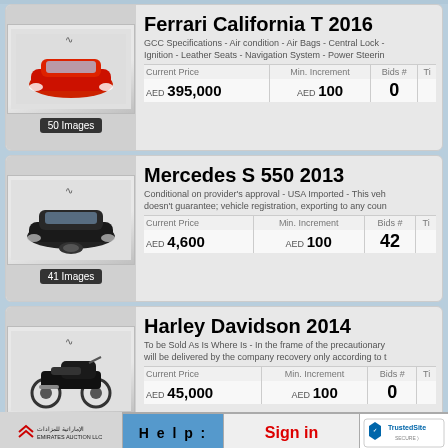[Figure (screenshot): Listing card for Ferrari California T 2016 with red car photo, 50 Images badge]
Ferrari California T 2016
GCC Specifications - Air condition - Air Bags - Central Lock - Ignition - Leather Seats - Navigation System - Power Steering
| Current Price | Min. Increment | Bids # | Ti |
| --- | --- | --- | --- |
| AED 395,000 | AED 100 | 0 |  |
[Figure (screenshot): Listing card for Mercedes S 550 2013 with black car photo, 41 Images badge]
Mercedes S 550 2013
Conditional on provider's approval - USA Imported - This veh doesn't guarantee; vehicle registration, exporting to any coun
| Current Price | Min. Increment | Bids # | Ti |
| --- | --- | --- | --- |
| AED 4,600 | AED 100 | 42 |  |
[Figure (screenshot): Listing card for Harley Davidson 2014 with motorcycle photo, 31 Images badge]
Harley Davidson 2014
To be Sold As Is Where Is - In the frame of the precautionary will be delivered by the company recovery only according to t
| Current Price | Min. Increment | Bids # | Ti |
| --- | --- | --- | --- |
| AED 45,000 | AED 100 | 0 |  |
[Figure (screenshot): Listing card for Audi A6 2013 with dark car photo, 40 Images badge]
Audi A6 2013
GCC Specifications - Air condition - Central Lock - Power Ste Steering wheel audio system - ABS - Automatic Gear - In the
| Current Price | Min. Increment | Bids # | Ti |
| --- | --- | --- | --- |
| AED 13,500 | AED 100 | 0 |  |
Emirates Auction LLC  |  Help:  |  Sign in  |  TrustedSite